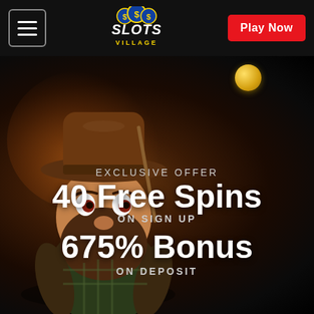[Figure (logo): Slots Village casino logo with SSS coins and stylized text]
Play Now
[Figure (illustration): 3D cartoon cowboy character with wide-brimmed hat and beard, on a dark fiery background with a gold coin floating]
EXCLUSIVE OFFER
40 Free Spins
ON SIGN UP
675% Bonus
ON DEPOSIT